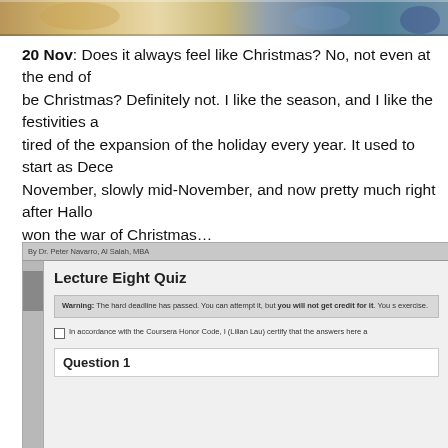[Figure (photo): Partial decorative image at top of page, appearing to show Christmas or festive themed scene]
20 Nov: Does it always feel like Christmas? No, not even at the end of be Christmas? Definitely not. I like the season, and I like the festivities a tired of the expansion of the holiday every year. It used to start as Dece November, slowly mid-November, and now pretty much right after Hallo won the war of Christmas…
[Figure (screenshot): Screenshot of a Coursera quiz page showing 'Lecture Eight Quiz' with a warning that the hard deadline has passed, a Coursera Honor Code checkbox for Lilian Lau, and Question 1 header. By Dr. Peter Navarro, Al Salah, MBA.]